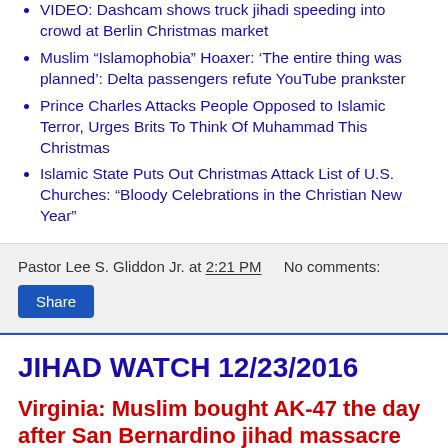VIDEO: Dashcam shows truck jihadi speeding into crowd at Berlin Christmas market
Muslim “Islamophobia” Hoaxer: ‘The entire thing was planned’: Delta passengers refute YouTube prankster
Prince Charles Attacks People Opposed to Islamic Terror, Urges Brits To Think Of Muhammad This Christmas
Islamic State Puts Out Christmas Attack List of U.S. Churches: “Bloody Celebrations in the Christian New Year”
Pastor Lee S. Gliddon Jr. at 2:21 PM   No comments:
JIHAD WATCH 12/23/2016
Virginia: Muslim bought AK-47 the day after San Bernardino jihad massacre
By Robert Spencer on Dec 22, 2016 08:07 pm
[Figure (screenshot): Broken image placeholder link: Virginia: Muslim bought AK-47 the day after San Bernardino jihad massacre]